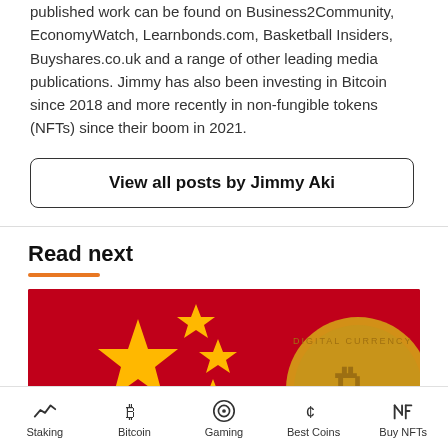published work can be found on Business2Community, EconomyWatch, Learnbonds.com, Basketball Insiders, Buyshares.co.uk and a range of other leading media publications. Jimmy has also been investing in Bitcoin since 2018 and more recently in non-fungible tokens (NFTs) since their boom in 2021.
View all posts by Jimmy Aki
Read next
[Figure (photo): Article thumbnail image showing Chinese flag with stars on red background and a gold Bitcoin coin on the right side]